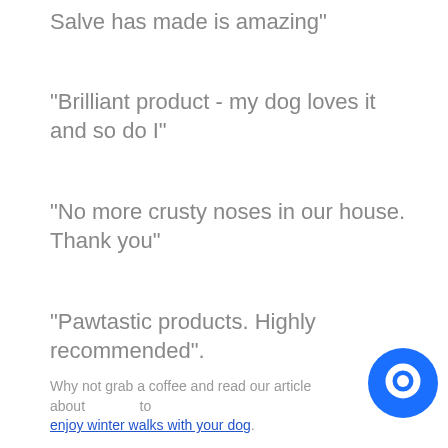Salve has made is amazing"
"Brilliant product - my dog loves it and so do I"
"No more crusty noses in our house. Thank you"
"Pawtastic products. Highly recommended".
Why not grab a coffee and read our article about how to enjoy winter walks with your dog.
[Figure (logo): Blue circular chat bubble icon in bottom right corner]